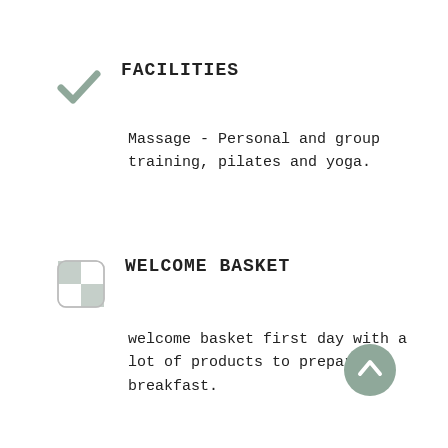FACILITIES
Massage - Personal and group training, pilates and yoga.
WELCOME BASKET
Welcome basket first day with a lot of products to prepare breakfast.